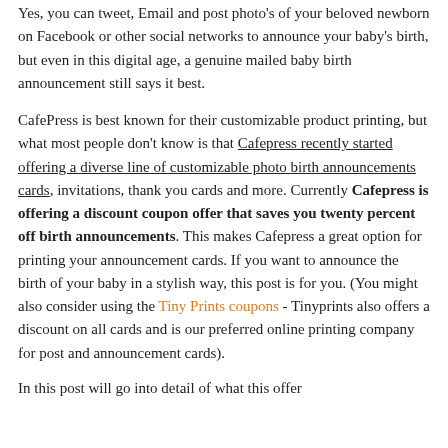Yes, you can tweet, Email and post photo's of your beloved newborn on Facebook or other social networks to announce your baby's birth, but even in this digital age, a genuine mailed baby birth announcement still says it best.
CafePress is best known for their customizable product printing, but what most people don't know is that Cafepress recently started offering a diverse line of customizable photo birth announcements cards, invitations, thank you cards and more. Currently Cafepress is offering a discount coupon offer that saves you twenty percent off birth announcements. This makes Cafepress a great option for printing your announcement cards. If you want to announce the birth of your baby in a stylish way, this post is for you. (You might also consider using the Tiny Prints coupons - Tinyprints also offers a discount on all cards and is our preferred online printing company for post and announcement cards).
In this post will go into detail of what this offer